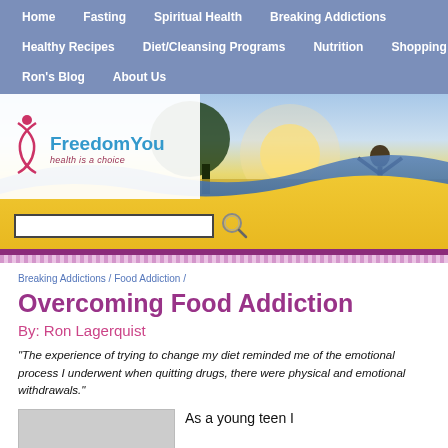Home | Fasting | Spiritual Health | Breaking Addictions | Healthy Recipes | Diet/Cleansing Programs | Nutrition | Shopping | Ron's Blog | About Us
[Figure (screenshot): FreedomYou website banner with logo on left (FreedomYou - health is a choice) and sunset/field photo on right with person raising arms, blue wave overlay, yellow background, and search bar]
Breaking Addictions / Food Addiction /
Overcoming Food Addiction
By: Ron Lagerquist
"The experience of trying to change my diet reminded me of the emotional process I underwent when quitting drugs, there were physical and emotional withdrawals."
As a young teen I